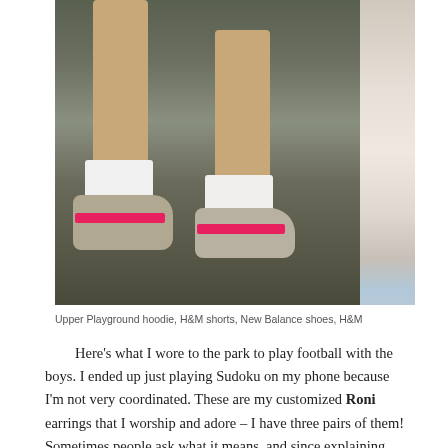[Figure (photo): Close-up photo of person's legs mid-jump wearing white socks and tan/beige New Balance sneakers with pink/red stripe, on a sidewalk/street surface. A partial second image is visible on the right side.]
Upper Playground hoodie, H&M shorts, New Balance shoes, H&M
Here's what I wore to the park to play football with the boys. I ended up just playing Sudoku on my phone because I'm not very coordinated. These are my customized Roni earrings that I worship and adore – I have three pairs of them! Sometimes people ask what it means, and since explaining what a Roni is (which I